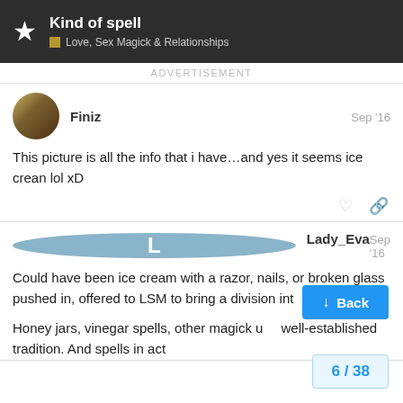Kind of spell | Love, Sex Magick & Relationships
ADVERTISEMENT
Finiz  Sep '16
This picture is all the info that i have…and yes it seems ice crean lol xD
Lady_Eva  Sep '16
Could have been ice cream with a razor, nails, or broken glass pushed in, offered to LSM to bring a division int sweetness?

Honey jars, vinegar spells, other magick u well-established tradition. And spells in act